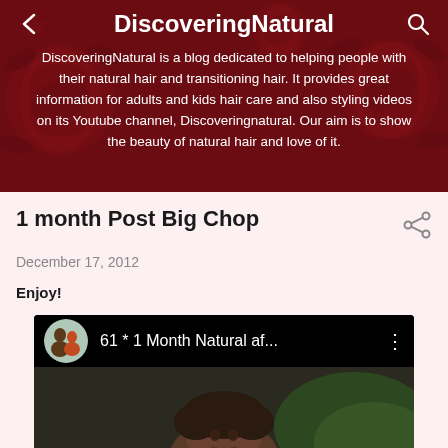DiscoveringNatural
DiscoveringNatural is a blog dedicated to helping people with their natural hair and transitioning hair. It provides great information for adults and kids hair care and also styling videos on its Youtube channel, Discoveringnatural. Our aim is to show the beauty of natural hair and love of it.
1 month Post Big Chop
December 17, 2012
Enjoy!
[Figure (screenshot): YouTube video embed thumbnail showing '61 * 1 Month Natural af...' with a circular avatar of two people and a video thumbnail showing a person's face with dark hair against a green background.]